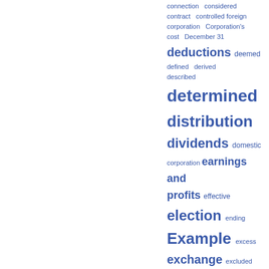connection considered contract controlled foreign corporation Corporation's cost December 31 deductions deemed defined derived described determined distribution dividends domestic corporation earnings and profits effective election ending Example excess exchange excluded export trade extent facts filed foreign country foreign income tax foreign tax